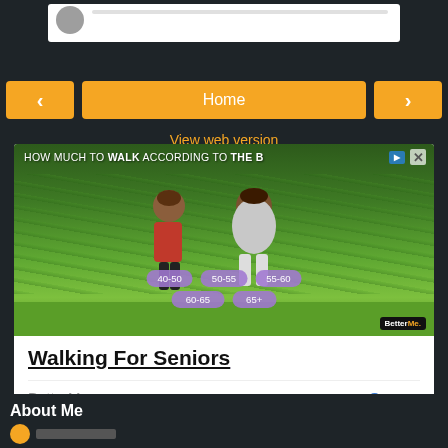[Figure (screenshot): Top partial view of a social media or blog mobile app interface showing a white content card with avatar circle on dark background]
Home
View web version
[Figure (screenshot): Advertisement banner for BetterMe app showing two animated characters walking in a garden, with age category tags (40-50, 50-55, 55-60, 60-65, 65+). Title: Walking For Seniors. Brand: BetterMe. CTA: Open >]
About Me